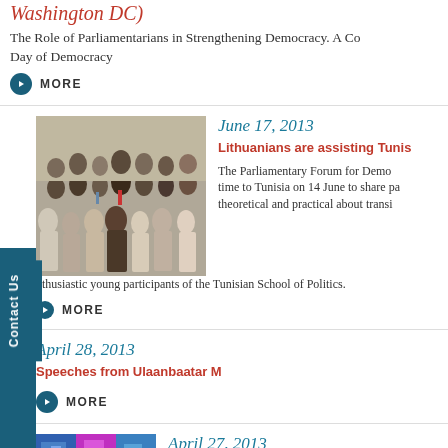Washington DC)
The Role of Parliamentarians in Strengthening Democracy. A Conference on the International Day of Democracy
MORE
[Figure (photo): Group photo of approximately 20 people seated and standing, likely parliamentarians or conference participants]
June 17, 2013
Lithuanians are assisting Tunis
The Parliamentary Forum for Democracy time to Tunisia on 14 June to share pa theoretical and practical about transit
nthusiastic young participants of the Tunisian School of Politics.
MORE
April 28, 2013
Speeches from Ulaanbaatar M
MORE
[Figure (photo): Partial view of a colorful event or exhibition display]
April 27, 2013